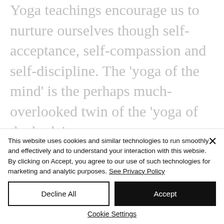Yoga teachings encourage us to nurture ourselves though self-acceptance, self-compassion and self-discipline. The 'yoga of the mind' is the perhaps much-overlooked twin of the 'yoga of the body'.
The word 'yoga' derives its name from the Sanskrit word 'yoke' – to
This website uses cookies and similar technologies to run smoothly and effectively and to understand your interaction with this websie. By clicking on Accept, you agree to our use of such technologies for marketing and analytic purposes. See Privacy Policy